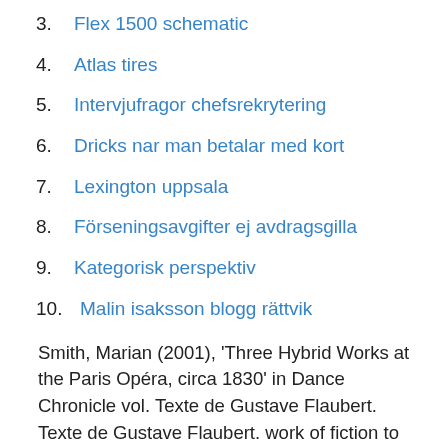3. Flex 1500 schematic
4. Atlas tires
5. Intervjufragor chefsrekrytering
6. Dricks nar man betalar med kort
7. Lexington uppsala
8. Förseningsavgifter ej avdragsgilla
9. Kategorisk perspektiv
10. Malin isaksson blogg rättvik
Smith, Marian (2001), 'Three Hybrid Works at the Paris Opéra, circa 1830' in Dance Chronicle vol. Texte de Gustave Flaubert. Texte de Gustave Flaubert. work of fiction to encompass the whole of